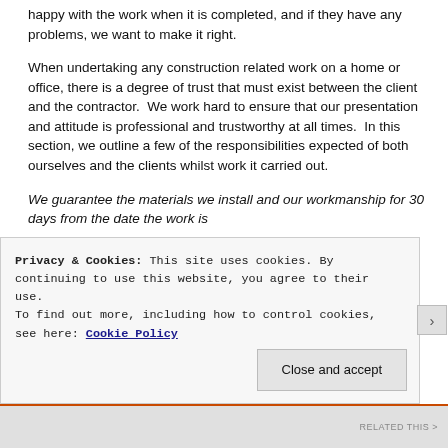happy with the work when it is completed, and if they have any problems, we want to make it right.
When undertaking any construction related work on a home or office, there is a degree of trust that must exist between the client and the contractor.  We work hard to ensure that our presentation and attitude is professional and trustworthy at all times.  In this section, we outline a few of the responsibilities expected of both ourselves and the clients whilst work it carried out.
We guarantee the materials we install and our workmanship for 30 days from the date the work is
Privacy & Cookies: This site uses cookies. By continuing to use this website, you agree to their use.
To find out more, including how to control cookies, see here: Cookie Policy
Close and accept